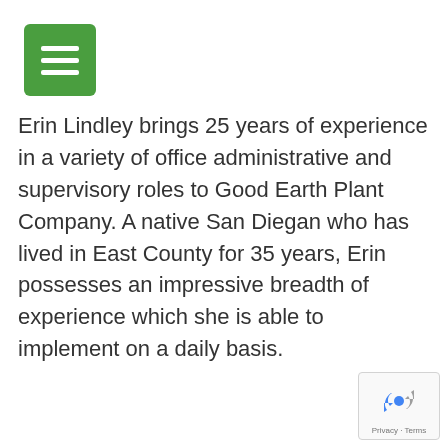[Figure (other): Green hamburger menu button with three white horizontal lines on a green rounded rectangle background]
Erin Lindley brings 25 years of experience in a variety of office administrative and supervisory roles to Good Earth Plant Company. A native San Diegan who has lived in East County for 35 years, Erin possesses an impressive breadth of experience which she is able to implement on a daily basis.
[Figure (logo): Google reCAPTCHA badge with blue and gray recycling-arrow logo and Privacy · Terms text]